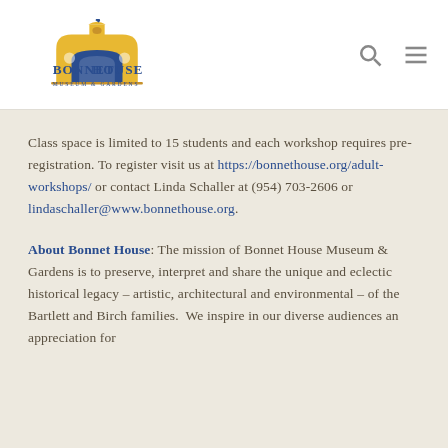[Figure (logo): Bonnet House Museum & Gardens logo with blue and yellow illustration of a house with a bird on top]
Class space is limited to 15 students and each workshop requires pre-registration. To register visit us at https://bonnethouse.org/adult-workshops/ or contact Linda Schaller at (954) 703-2606 or lindaschaller@www.bonnethouse.org.
About Bonnet House: The mission of Bonnet House Museum & Gardens is to preserve, interpret and share the unique and eclectic historical legacy – artistic, architectural and environmental – of the Bartlett and Birch families. We inspire in our diverse audiences an appreciation for